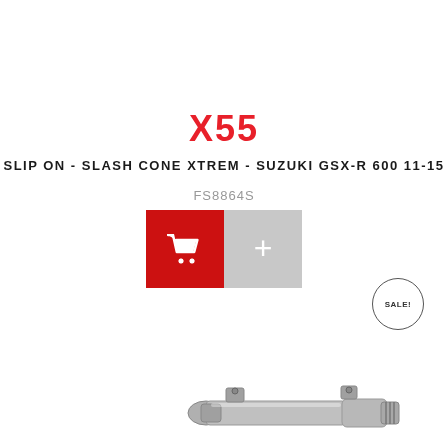X55
SLIP ON - SLASH CONE XTREM - SUZUKI GSX-R 600 11-15
FS8864S
[Figure (infographic): Red shopping cart button and grey plus button side by side]
[Figure (infographic): SALE! circular badge with border]
[Figure (photo): Motorcycle exhaust slip-on product, silver/chrome metal pipe component shown at bottom of page]